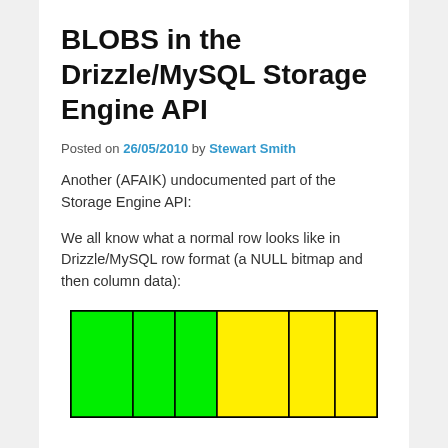BLOBS in the Drizzle/MySQL Storage Engine API
Posted on 26/05/2010 by Stewart Smith
Another (AFAIK) undocumented part of the Storage Engine API:
We all know what a normal row looks like in Drizzle/MySQL row format (a NULL bitmap and then column data):
[Figure (schematic): A row format diagram showing colored blocks: three green cells on the left representing NULL bitmap, followed by four yellow cells representing column data, all within a black-bordered rectangle.]